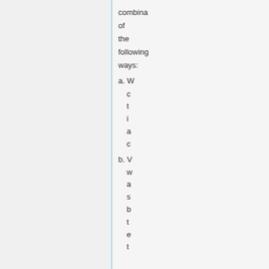combination of the following ways:
a. W c t i a c
b. W w a s b t e t